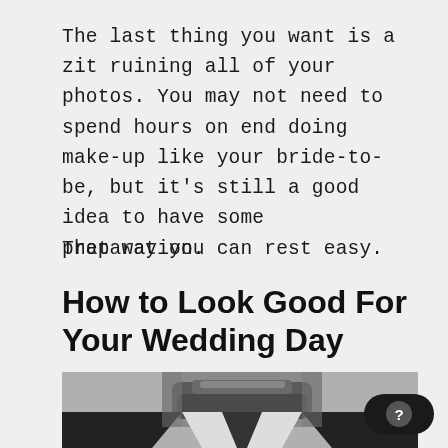The last thing you want is a zit ruining all of your photos. You may not need to spend hours on end doing make-up like your bride-to-be, but it's still a good idea to have some preparation.
That way you can rest easy.
How to Look Good For Your Wedding Day
[Figure (photo): Black and white close-up photo of a man's face from the nose down, showing a beard and the collar of a dark suit jacket.]